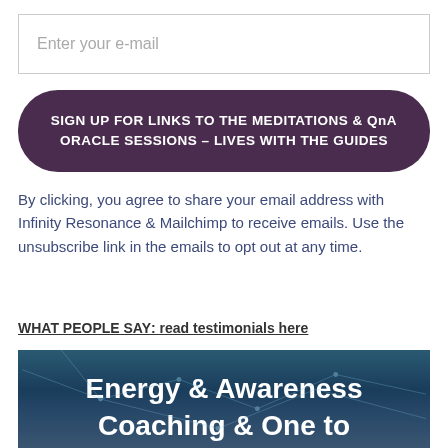Enter your e-mail
SIGN UP FOR LINKS TO THE MEDITATIONS & QnA ORACLE SESSIONS – LIVES WITH THE GUIDES
By clicking, you agree to share your email address with Infinity Resonance & Mailchimp to receive emails. Use the unsubscribe link in the emails to opt out at any time.
WHAT PEOPLE SAY: read testimonials here
[Figure (illustration): Dark teal/blue background with network-style geometric lines and nodes overlay, with white bold text reading 'Energy & Awareness Coaching & One to']